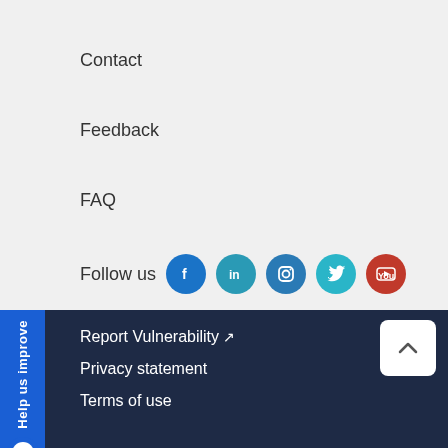Contact
Feedback
FAQ
Follow us
[Figure (illustration): Social media icons: Facebook, LinkedIn, Instagram, Twitter, YouTube]
[Figure (illustration): Help us improve tab on left side with smiley face icon]
Report Vulnerability ↗
Privacy statement
Terms of use
Sitemap
Last Updated: 27 Oct 2020
[Figure (illustration): Scroll to top button with upward caret arrow]
[Figure (illustration): Female avatar/chatbot character in circular frame]